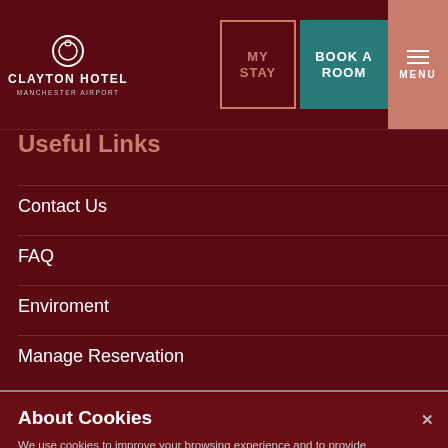CLAYTON HOTEL MANCHESTER AIRPORT
Useful Links
Contact Us
FAQ
Enviroment
Manage Reservation
About Cookies
We use cookies to improve your browsing experience and to provide advertising which we believe may be of interest to you. By clicking "Accept All Cookies", you agree to the storing of cookies on your device to enhance site navigation, analyse site usage, and assist in our marketing efforts. Cookie Policy